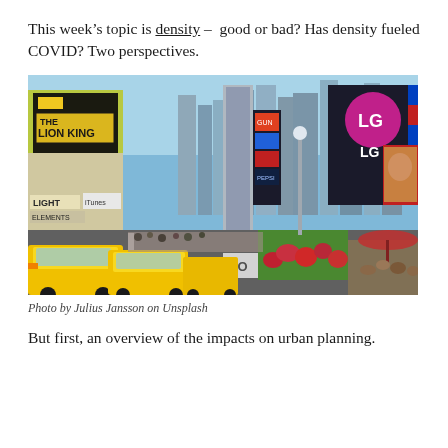This week's topic is density – good or bad? Has density fueled COVID? Two perspectives.
[Figure (photo): Aerial street-level view of Times Square, New York City, showing yellow taxis, skyscrapers, and large billboard advertisements including The Lion King and LG logos, with crowds of people and red flowers in a median island.]
Photo by Julius Jansson on Unsplash
But first, an overview of the impacts on urban planning.